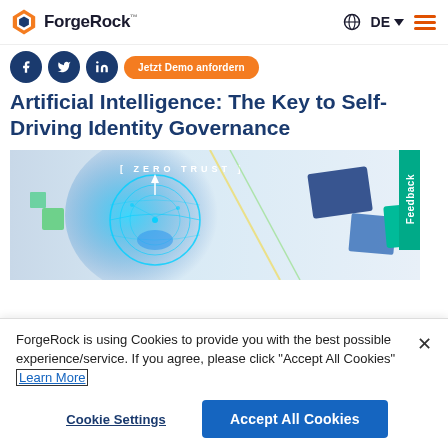ForgeRock — DE (language selector, hamburger menu)
[Figure (screenshot): Social media icons (3 circular dark blue icons) and an orange CTA pill button partially visible]
Artificial Intelligence: The Key to Self-Driving Identity Governance
[Figure (photo): Technology banner image showing a glowing blue digital brain/globe with 'ZERO TRUST' text overlay, colorful geometric shapes, and a green 'Feedback' tab on the right side]
ForgeRock is using Cookies to provide you with the best possible experience/service. If you agree, please click "Accept All Cookies" Learn More
Cookie Settings  Accept All Cookies